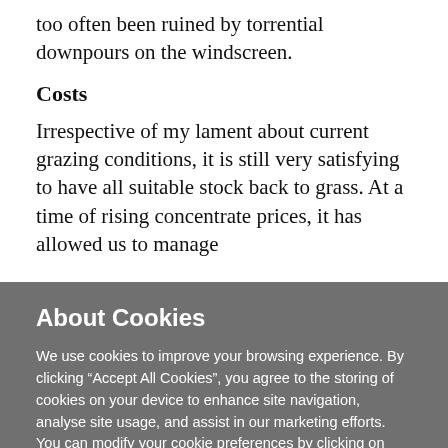too often been ruined by torrential downpours on the windscreen.
Costs
Irrespective of my lament about current grazing conditions, it is still very satisfying to have all suitable stock back to grass. At a time of rising concentrate prices, it has allowed us to manage
About Cookies
We use cookies to improve your browsing experience. By clicking “Accept All Cookies”, you agree to the storing of cookies on your device to enhance site navigation, analyse site usage, and assist in our marketing efforts. You can modify your cookie preferences by clicking on cookie settings within our  Cookie Policy
Cookie Settings
Accept All Cookies